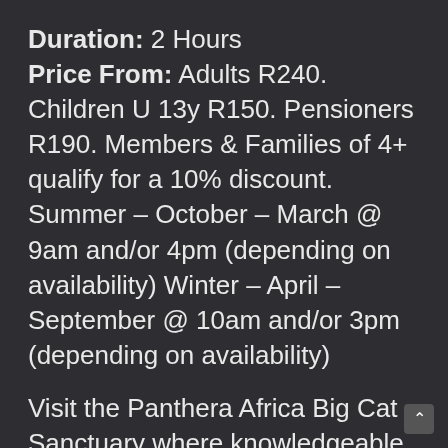Duration: 2 Hours
Price From: Adults R240. Children U 13y R150. Pensioners R190. Members & Families of 4+ qualify for a 10% discount. Summer – October – March @ 9am and/or 4pm (depending on availability) Winter – April –September @ 10am and/or 3pm (depending on availability)
Visit the Panthera Africa Big Cat Sanctuary where knowledgeable and passionate staff will educate you on interesting facts about the different species.